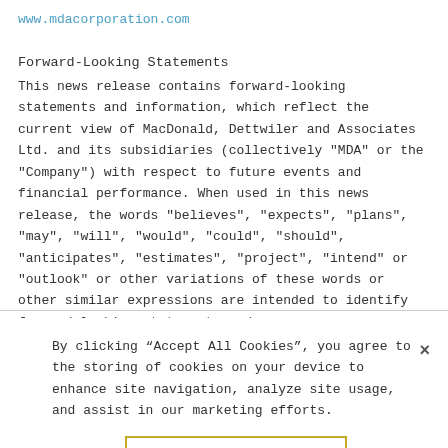www.mdacorporation.com
Forward-Looking Statements
This news release contains forward-looking statements and information, which reflect the current view of MacDonald, Dettwiler and Associates Ltd. and its subsidiaries (collectively "MDA" or the "Company") with respect to future events and financial performance. When used in this news release, the words "believes", "expects", "plans", "may", "will", "would", "could", "should", "anticipates", "estimates", "project", "intend" or "outlook" or other variations of these words or other similar expressions are intended to identify forward-looking statements and
By clicking “Accept All Cookies”, you agree to the storing of cookies on your device to enhance site navigation, analyze site usage, and assist in our marketing efforts.
Accept All Cookies